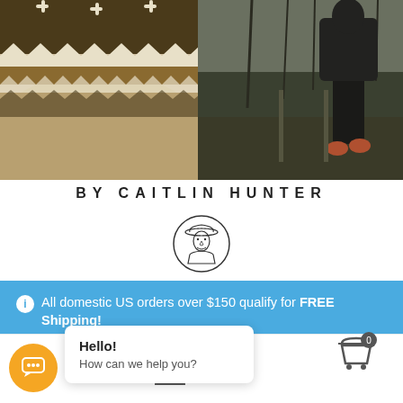[Figure (photo): Split product image: left side shows a colorful Fair Isle / Nordic patterned knitted hat with brown, white, and dark geometric patterns; right side shows a person sitting outdoors on a dark day with bare trees in the background, wearing dark clothing and orange/red shoes.]
BY CAITLIN HUNTER
[Figure (logo): Circular logo illustration of a woman wearing a cowboy hat, depicted in a vintage line-art style within a circular border.]
ℹ All domestic US orders over $150 qualify for FREE Shipping!
Dismiss
Hello!
How can we help you?